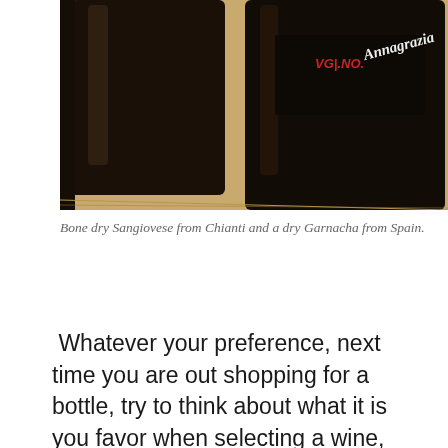[Figure (photo): Two dark wine bottles photographed close-up on a wooden surface. The right bottle has a label with red text reading 'Vignol' and a cursive script 'Annagrazia' or similar.]
Bone dry Sangiovese from Chianti and a dry Garnacha from Spain.
Whatever your preference, next time you are out shopping for a bottle, try to think about what it is you favor when selecting a wine, and reach for something new to try. Or ask for help; it is how you learn.